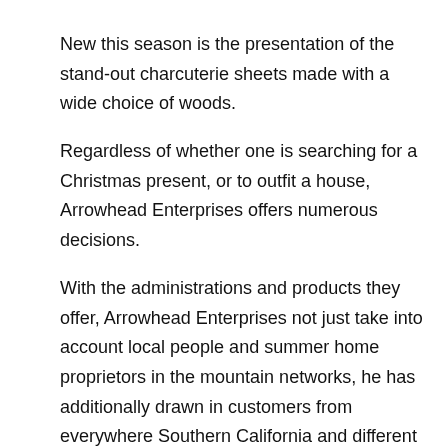New this season is the presentation of the stand-out charcuterie sheets made with a wide choice of woods.
Regardless of whether one is searching for a Christmas present, or to outfit a house, Arrowhead Enterprises offers numerous decisions.
With the administrations and products they offer, Arrowhead Enterprises not just take into account local people and summer home proprietors in the mountain networks, he has additionally drawn in customers from everywhere Southern California and different states.
“Not every person has great hotspots for pieces. They’re a considerable amount more costly down the slope,” Leader said. “We’re carrying individuals to the mountain to shop